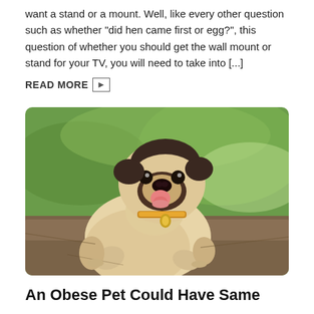want a stand or a mount. Well, like every other question such as whether "did hen came first or egg?", this question of whether you should get the wall mount or stand for your TV, you will need to take into [...]
READ MORE ▷
[Figure (photo): A fat pug dog sitting on a dirt path with green grass in the background, wearing a decorative collar, with its tongue sticking out.]
An Obese Pet Could Have Same